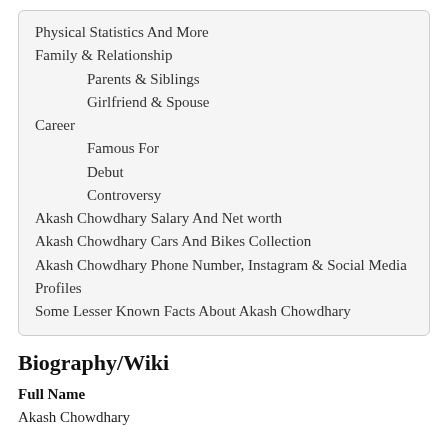Physical Statistics And More
Family & Relationship
Parents & Siblings
Girlfriend & Spouse
Career
Famous For
Debut
Controversy
Akash Chowdhary Salary And Net worth
Akash Chowdhary Cars And Bikes Collection
Akash Chowdhary Phone Number, Instagram & Social Media Profiles
Some Lesser Known Facts About Akash Chowdhary
Biography/Wiki
Full Name
Akash Chowdhary